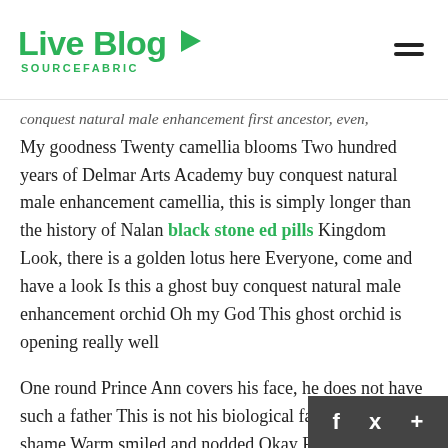Live Blog SOURCEFABRIC
conquest natural male enhancement first ancestor, even,
My goodness Twenty camellia blooms Two hundred years of Delmar Arts Academy buy conquest natural male enhancement camellia, this is simply longer than the history of Nalan black stone ed pills Kingdom Look, there is a golden lotus here Everyone, come and have a look Is this a ghost buy conquest natural male enhancement orchid Oh my God This ghost orchid is opening really well
One round Prince Ann covers his face, he does not have such a father This is not his biological father What a shame Warm smiled and nodded Okay Prince Ann please Prince Ann picked up a sunspot again, but when he was about to fall, he glared at Nalan Jinnian Get out Nalan Jinnian stood up Of course, the emperor is also worried that you will is looking for an excuse to fall back on the bill Pri